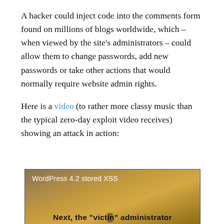A hacker could inject code into the comments form found on millions of blogs worldwide, which – when viewed by the site's administrators – could allow them to change passwords, add new passwords or take other actions that would normally require website admin rights.
Here is a video (to rather more classy music than the typical zero-day exploit video receives) showing an attack in action:
[Figure (screenshot): Video thumbnail showing 'WordPress 4.2 stored XSS' title in white text on a dark golden/brown gradient background, with bold text at bottom reading 'Next, the "victim" administrator']